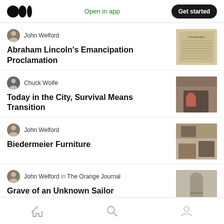Open in app | Get started
John Welford
Abraham Lincoln's Emancipation Proclamation
Chuck Wolfe
Today in the City, Survival Means Transition
John Welford
Biedermeier Furniture
John Welford in The Orange Journal
Grave of an Unknown Sailor
Home | Search | Profile